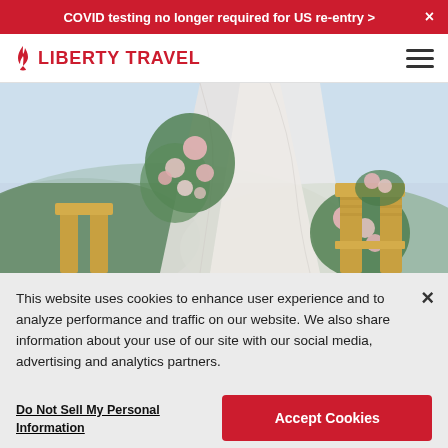COVID testing no longer required for US re-entry >
[Figure (logo): Liberty Travel logo with flame icon and red bold text LIBERTY TRAVEL]
[Figure (photo): Outdoor wedding venue with floral arch draped in white fabric, gold chiavari chairs, and mountain landscape in background]
This website uses cookies to enhance user experience and to analyze performance and traffic on our website. We also share information about your use of our site with our social media, advertising and analytics partners.
Do Not Sell My Personal Information
Accept Cookies